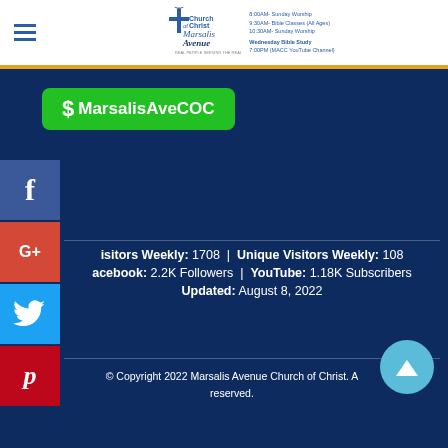Church of Christ Marsalis Avenue - REAL PEOPLE SERVING THE REAL GOD. 8:00AM Sunday Worship, 9:30AM Bible Classes (All Ages), 10:30AM Sunday Worship. Wednesday Bible Study 7:00PM (MACC YouTube Channel)
[Figure (logo): Church of Christ Marsalis Avenue logo with cross/dove icon and tagline REAL PEOPLE SERVING THE REAL GOD]
[Figure (infographic): CashApp button with dollar sign and text MarsalisAveCOC on green background]
[Figure (infographic): Social media icons: Facebook (blue), Google+ (red), Twitter (light blue), Pinterest (red)]
Visitors Weekly: 1708  |  Unique Visitors Weekly: 108
Facebook: 2.2K Followers  |  YouTube: 1.18K Subscribers
Updated: August 8, 2022
© Copyright 2022 Marsalis Avenue Church of Christ. All rights reserved.